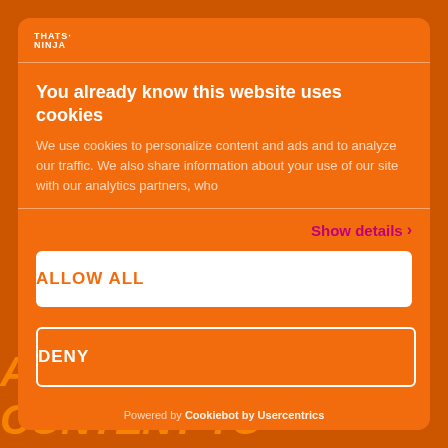[Figure (screenshot): Orange background with large italic text 'Adding video content to' partially visible behind the cookie consent modal]
[Figure (logo): That's Ninja logo in white text in the top-left of the cookie consent modal]
You already know this website uses cookies
We use cookies to personalize content and ads and to analyze our traffic. We also share information about your use of our site with our analytics partners, who
Show details ›
ALLOW ALL
DENY
Powered by Cookiebot by Usercentrics